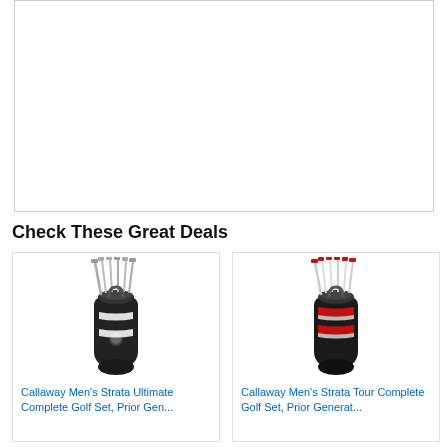[Figure (other): Large white rectangular area with gray border, representing an image/ad space at top of page]
Check These Great Deals
[Figure (photo): Callaway Men's Strata Ultimate Complete Golf Set with black and white golf bag and silver clubs]
Callaway Men's Strata Ultimate Complete Golf Set, Prior Gen...
[Figure (photo): Callaway Men's Strata Tour Complete Golf Set with black, white and red golf bag]
Callaway Men's Strata Tour Complete Golf Set, Prior Generat...